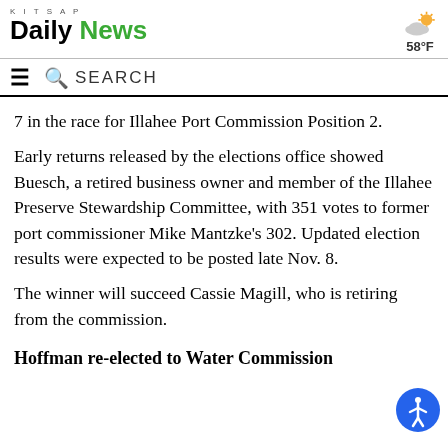KITSAP Daily News — 58°F
7 in the race for Illahee Port Commission Position 2.
Early returns released by the elections office showed Buesch, a retired business owner and member of the Illahee Preserve Stewardship Committee, with 351 votes to former port commissioner Mike Mantzke's 302. Updated election results were expected to be posted late Nov. 8.
The winner will succeed Cassie Magill, who is retiring from the commission.
Hoffman re-elected to Water Commission